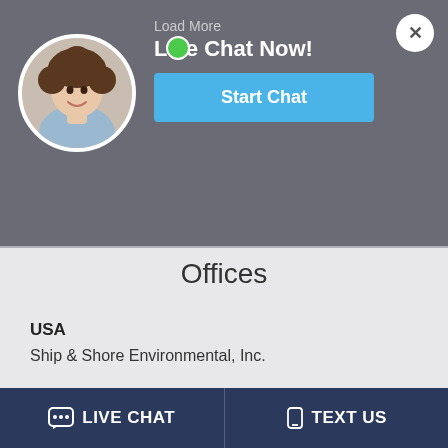[Figure (screenshot): Live chat overlay widget showing an avatar of a woman with curly hair, a green online dot, 'Load More' text above, 'Live Chat Now!' title, and a blue 'Start Chat' button. Background shows social media icons (Facebook, Twitter, LinkedIn, YouTube) in a dark bar. A white close (X) button is in the top-right corner.]
Offices
USA
Ship & Shore Environmental, Inc.
2474 N. Palm Drive Signal Hill, CA 90755, USA.
LIVE CHAT    TEXT US